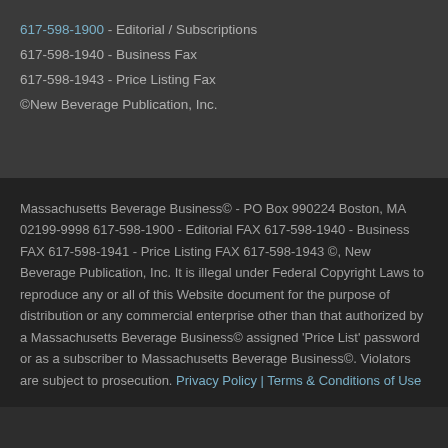617-598-1900 - Editorial / Subscriptions
617-598-1940 - Business Fax
617-598-1943 - Price Listing Fax
©New Beverage Publication, Inc.
Massachusetts Beverage Business© - PO Box 990224 Boston, MA 02199-9998 617-598-1900 - Editorial FAX 617-598-1940 - Business FAX 617-598-1941 - Price Listing FAX 617-598-1943 ©, New Beverage Publication, Inc. It is illegal under Federal Copyright Laws to reproduce any or all of this Website document for the purpose of distribution or any commercial enterprise other than that authorized by a Massachusetts Beverage Business© assigned 'Price List' password or as a subscriber to Massachusetts Beverage Business©. Violators are subject to prosecution. Privacy Policy | Terms & Conditions of Use